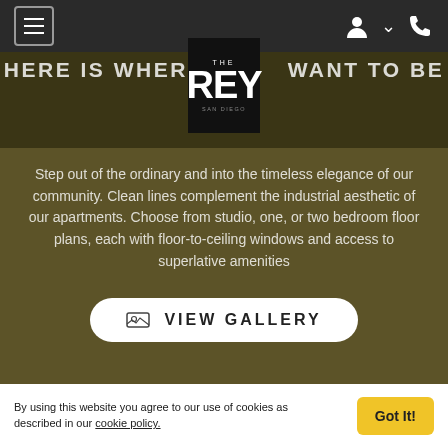[Figure (screenshot): Navigation bar with hamburger menu icon on the left and user/phone icons on the right, dark background]
HERE IS WHERE YOU WANT TO BE
[Figure (logo): THE REY SAN DIEGO logo in white text on black square background]
Step out of the ordinary and into the timeless elegance of our community. Clean lines complement the industrial aesthetic of our apartments. Choose from studio, one, or two bedroom floor plans, each with floor-to-ceiling windows and access to superlative amenities
[Figure (other): VIEW GALLERY button with image icon, white rounded rectangle button on olive/dark gold background]
By using this website you agree to our use of cookies as described in our cookie policy.